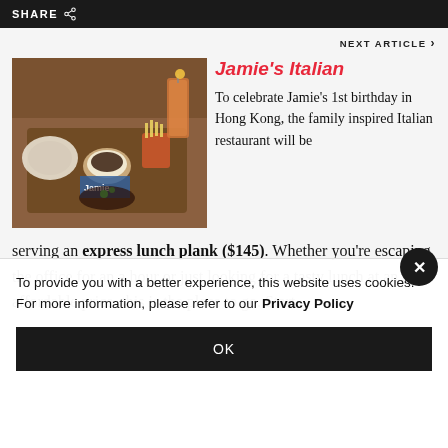SHARE
NEXT ARTICLE
[Figure (photo): Food photo showing a wooden board with various dishes including fries, soup, and a drink, with Jamie's Italian branding visible]
Jamie's Italian
To celebrate Jamie's 1st birthday in Hong Kong, the family inspired Italian restaurant will be serving an express lunch plank ($145). Whether you're escaping the office for an a hour or just looking for a tasty lunch at an affordable price, this is the place to go. Start
To provide you with a better experience, this website uses cookies. For more information, please refer to our Privacy Policy
OK